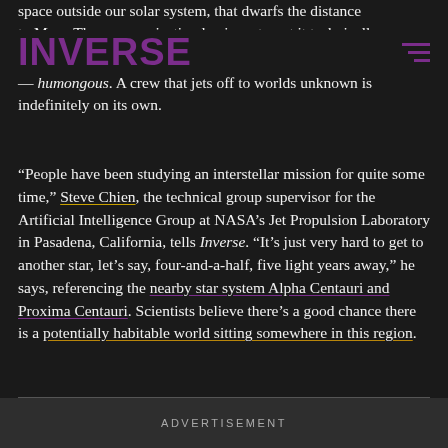INVERSE
space outside our solar system, that dwarfs the distance to Mars. The communication lag is — to put it technically — humongous. A crew that jets off to worlds unknown is indefinitely on its own.
“People have been studying an interstellar mission for quite some time,” Steve Chien, the technical group supervisor for the Artificial Intelligence Group at NASA’s Jet Propulsion Laboratory in Pasadena, California, tells Inverse. “It’s just very hard to get to another star, let’s say, four-and-a-half, five light years away,” he says, referencing the nearby star system Alpha Centauri and Proxima Centauri. Scientists believe there’s a good chance there is a potentially habitable world sitting somewhere in this region.
ADVERTISEMENT